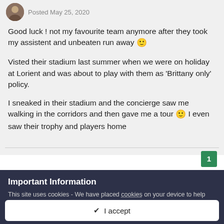Posted May 25, 2020
Good luck ! not my favourite team anymore after they took my assistent and unbeaten run away 🙂
Visted their stadium last summer when we were on holiday at Lorient and was about to play with them as 'Brittany only' policy.
I sneaked in their stadium and the concierge saw me walking in the corridors and then gave me a tour 🙂 I even saw their trophy and players home
1
Important Information
This site uses cookies - We have placed cookies on your device to help make this website better. You can adjust your cookie settings, otherwise we'll assume you're okay to continue.
✔  I accept